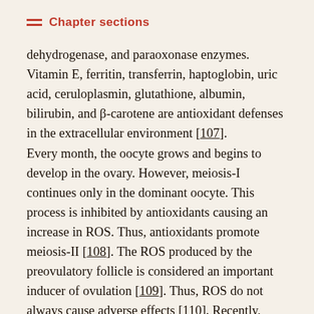Chapter sections
dehydrogenase, and paraoxonase enzymes. Vitamin E, ferritin, transferrin, haptoglobin, uric acid, ceruloplasmin, glutathione, albumin, bilirubin, and β-carotene are antioxidant defenses in the extracellular environment [107].
Every month, the oocyte grows and begins to develop in the ovary. However, meiosis-I continues only in the dominant oocyte. This process is inhibited by antioxidants causing an increase in ROS. Thus, antioxidants promote meiosis-II [108]. The ROS produced by the preovulatory follicle is considered an important inducer of ovulation [109]. Thus, ROS do not always cause adverse effects [110]. Recently, ROS have been reported to regulate cell function by controlling the production or activation